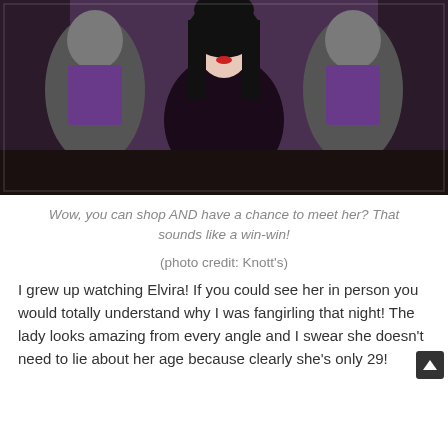[Figure (photo): A woman dressed as Elvira (Mistress of the Dark) in a black low-cut dress with long black hair, posing at a counter with several costumed zombie/ghoul performers in purple vests and grey zombie makeup behind her.]
Wow, you can shop AND have a chance to meet her? That sounds like a win-win!
(photo credit: Knott's)
I grew up watching Elvira! If you could see her in person you would totally understand why I was fangirling that night!  The lady looks amazing from every angle and I swear she doesn't need to lie about her age because clearly she's only 29!